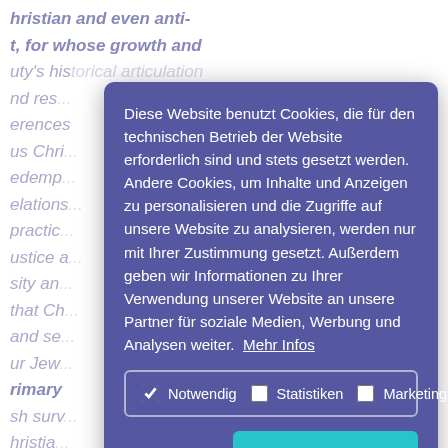hristian and even anti-
t, for whose growth and
uty's historical articulation
nd res... erences
us Chri...
edemp...
elations...
practi...
ustice a...
sity an...
that Ch...
and se...
ur Jew...
rimary
sh surv...
hristia...
elieve ... a ne...
f mutu...
But we ... standin...
wish community may be quick
Diese Website benutzt Cookies, die für den technischen Betrieb der Website erforderlich sind und stets gesetzt werden. Andere Cookies, um Inhalte und Anzeigen zu personalisieren und die Zugriffe auf unsere Website zu analysieren, werden nur mit Ihrer Zustimmung gesetzt. Außerdem geben wir Informationen zu Ihrer Verwendung unserer Website an unsere Partner für soziale Medien, Werbung und Analysen weiter. Mehr Infos
✓ Notwendig
☐ Statistiken
☐ Marketing
Ablehnen
Cookies zulassen!